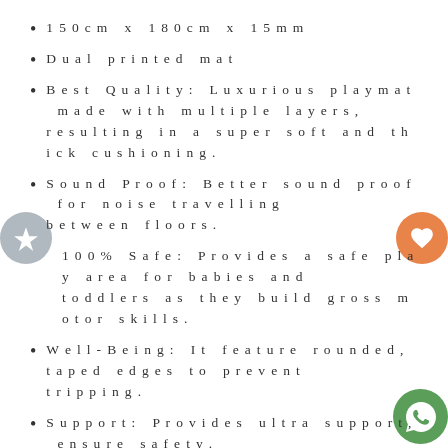150cm x 180cm x 15mm
Dual printed mat
Best Quality: Luxurious playmat made with multiple layers, resulting in a super soft and thick cushioning.
Sound Proof: Better sound proof for noise travelling between floors.
100% Safe: Provides a safe play area for babies and toddlers as they build gross motor skills.
Well-Being: It feature rounded, taped edges to prevent tripping.
Support: Provides ultra support, ensure safety.
Non Slip: Embossing patterns are which it enhance the surface finishing, non slip and make it more durable.